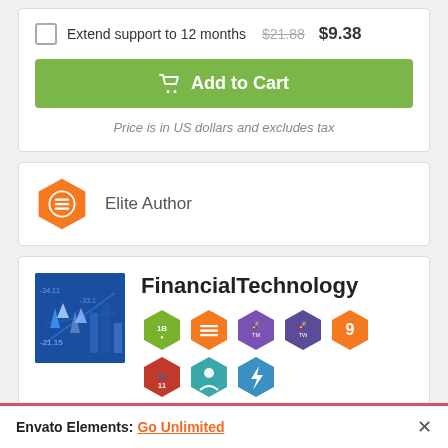Extend support to 12 months $21.88 $9.38
Add to Cart
Price is in US dollars and excludes tax
Elite Author
FinancialTechnology
[Figure (illustration): Author card with FinancialTechnology profile image (financial charts) and achievement badges in hexagon shapes: 1B, stacked lines, TM rocket, TW rocket, 9, 11 paws, person target, lightning, building, diamond, link 4, SC 2]
View Portfolio
Envato Elements: Go Unlimited ×